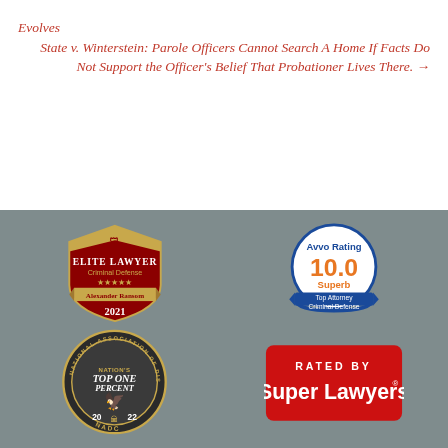Evolves State v. Winterstein: Parole Officers Cannot Search A Home If Facts Do Not Support the Officer's Belief That Probationer Lives There. →
[Figure (logo): Elite Lawyer Criminal Defense badge for Alexander Ransom, 2021 - dark red shield shape with gold stars and gold banner]
[Figure (logo): Avvo Rating 10.0 Superb badge - circular with blue ribbon, orange 10.0 rating, Top Attorney Criminal Defense]
[Figure (logo): National Association of Distinguished Counsel - Nation's Top One Percent badge, circular dark with golden eagle, 2022, NADC]
[Figure (logo): Rated by Super Lawyers - red rounded rectangle badge with white text]